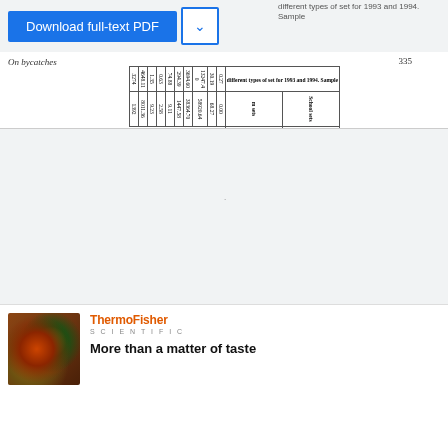[Figure (screenshot): Download full-text PDF button (blue) with chevron dropdown button]
[Figure (screenshot): Small text fragments partially visible: availability text]
|  | School sets | Log sets |
| --- | --- | --- |
| 0.27 | 0.00 |
| 30.19 | 68.27 |
| 13247.40 | 58920.64 |
| 3694.60 | 38364.70 |
| 294.39 | 1447.58 |
| 74.88 | 9.11 |
| 0.63 | 2.58 |
| 1.35 | 9.23 |
| 4648.11 | 8011.36 |
| 3274 | 1392 |
On bycatches
335
Advertisement
[Figure (photo): Food dish photograph (crabs/seafood) used in ThermoFisher Scientific advertisement]
ThermoFisher SCIENTIFIC
More than a matter of taste